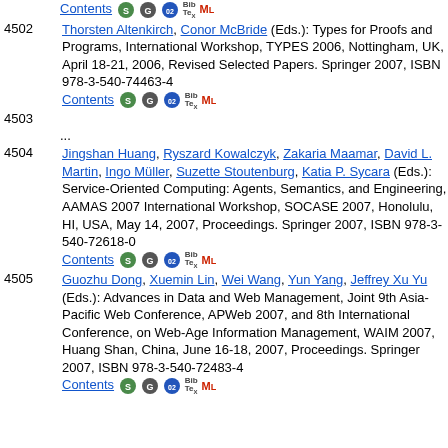Contents [icons] (partial top entry)
4502
Thorsten Altenkirch, Conor McBride (Eds.): Types for Proofs and Programs, International Workshop, TYPES 2006, Nottingham, UK, April 18-21, 2006, Revised Selected Papers. Springer 2007, ISBN 978-3-540-74463-4 Contents [icons]
4503
...
4504
Jingshan Huang, Ryszard Kowalczyk, Zakaria Maamar, David L. Martin, Ingo Müller, Suzette Stoutenburg, Katia P. Sycara (Eds.): Service-Oriented Computing: Agents, Semantics, and Engineering, AAMAS 2007 International Workshop, SOCASE 2007, Honolulu, HI, USA, May 14, 2007, Proceedings. Springer 2007, ISBN 978-3-540-72618-0 Contents [icons]
4505
Guozhu Dong, Xuemin Lin, Wei Wang, Yun Yang, Jeffrey Xu Yu (Eds.): Advances in Data and Web Management, Joint 9th Asia-Pacific Web Conference, APWeb 2007, and 8th International Conference, on Web-Age Information Management, WAIM 2007, Huang Shan, China, June 16-18, 2007, Proceedings. Springer 2007, ISBN 978-3-540-72483-4 Contents [icons]